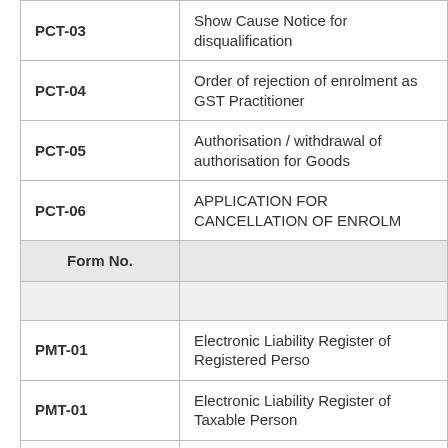| Form No. |  |
| --- | --- |
| PCT-03 | Show Cause Notice for disqualification |
| PCT-04 | Order of rejection of enrolment as GST Practitioner |
| PCT-05 | Authorisation / withdrawal of authorisation for Goods |
| PCT-06 | APPLICATION FOR CANCELLATION OF ENROLM |
| PCT-07 | ORDER OF CANCELLATION OF ENROLMENT AS |
| Form No. |  |
| --- | --- |
|  |  |
| PMT-01 | Electronic Liability Register of Registered Perso |
| PMT-01 | Electronic Liability Register of Taxable Person |
| PMT-02 | Electronic Credit Ledger of Registered Person |
| PMT-03 | Order for re-credit of the amount to cash or cred |